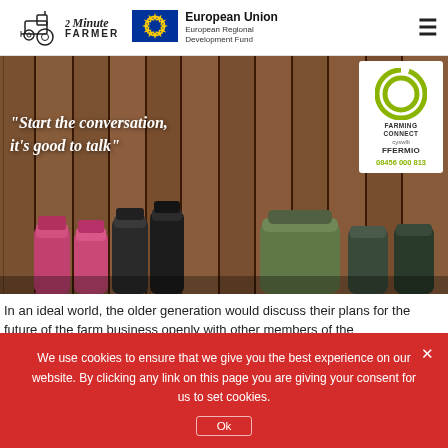[Figure (logo): 2 Minute Farmer logo with tractor icon, EU flag, European Union European Regional Development Fund text, and hamburger menu icon]
[Figure (photo): Hero image: Wellington boots lined up against a wooden fence/wall with quote 'Start the conversation, it's good to talk' and Farming Connect / Cyswllt Ffermio badge with phone number 08456 000 813]
In an ideal world, the older generation would discuss their plans for the future of the farm business openly with other members of the
We use cookies to ensure that we give you the best experience on our website. By clicking any link on this page you are giving your consent for us to set cookies.